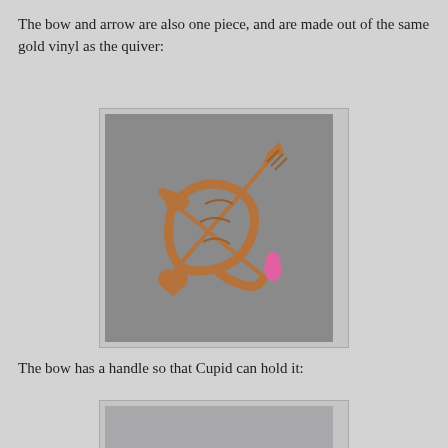The bow and arrow are also one piece, and are made out of the same gold vinyl as the quiver:
[Figure (photo): A copper-colored metallic bow and arrow piece lying on a gray background. The bow is ornate with decorative swan or bird head ends, and the arrow crosses through it. One end has a heart-shaped tip and the other has a pink decorative knob. The whole piece is copper/bronze toned.]
The bow has a handle so that Cupid can hold it:
[Figure (photo): Partial view of another photo showing what appears to be a gray/silver surface, likely showing the handle of the bow.]